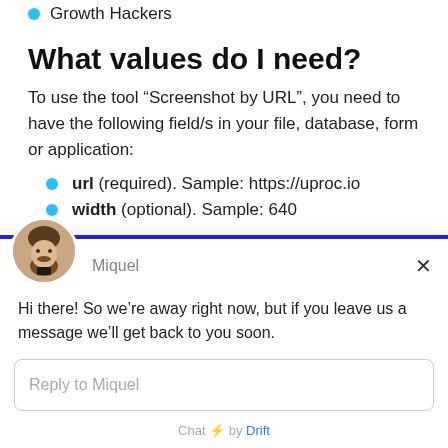Growth Hackers
What values do I need?
To use the tool “Screenshot by URL”, you need to have the following field/s in your file, database, form or application:
url (required). Sample: https://uproc.io
width (optional). Sample: 640
Hi there! So we’re away right now, but if you leave us a message we’ll get back to you soon.
Reply to Miquel
Chat ⚡ by Drift